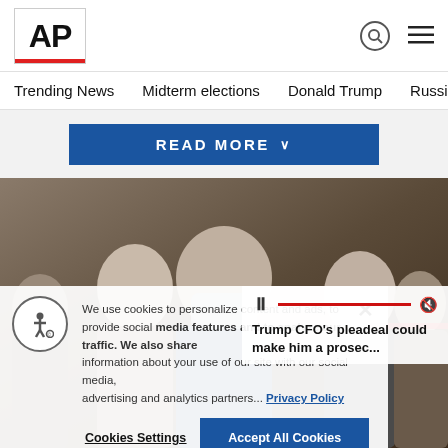AP
Trending News
Midterm elections
Donald Trump
Russia-Ukr
READ MORE
[Figure (photo): Man wearing a face mask surrounded by other people, photo in a news article context]
We use cookies to personalize content and ads, to provide social media features and to analyze our traffic. We also share information about your use of our site with our social media, advertising and analytics partners... Privacy Policy
Cookies Settings
Accept All Cookies
Trump CFO's plea deal could make him a prosec...